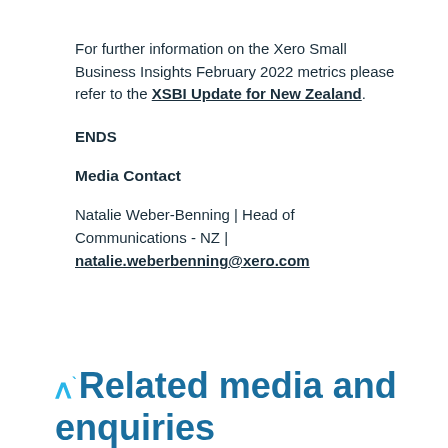For further information on the Xero Small Business Insights February 2022 metrics please refer to the XSBI Update for New Zealand.
ENDS
Media Contact
Natalie Weber-Benning | Head of Communications - NZ | natalie.weberbenning@xero.com
Related media and enquiries